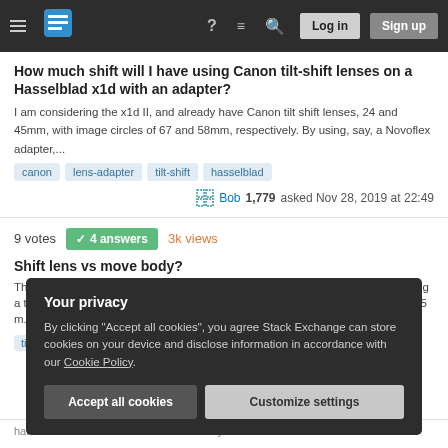Stack Exchange navigation bar with hamburger menu, logo, question mark icon, lines icon, search icon, Log in button, Sign up button
How much shift will I have using Canon tilt-shift lenses on a Hasselblad x1d with an adapter?
I am considering the x1d II, and already have Canon tilt shift lenses, 24 and 45mm, with image circles of 67 and 58mm, respectively. By using, say, a Novoflex adapter,...
canon
lens-adapter
tilt-shift
hasselblad
Bob 1,779 asked Nov 28, 2019 at 22:49
9 votes  4 answers  3k views
Shift lens vs move body?
This is a question that sounds basic, but I have yet to find an answer. When using a tilt-shift lens, if you shift the lens up 5 mm, or if you move the camera body up 5 m...
tilt-shift  Dick101  83  asked Aug 26, 2019 at 16:30
Your privacy
By clicking "Accept all cookies", you agree Stack Exchange can store cookies on your device and disclose information in accordance with our Cookie Policy.
Accept all cookies  Customize settings
hat. I also heard its mission unclear for anyone that wants to take architecture...